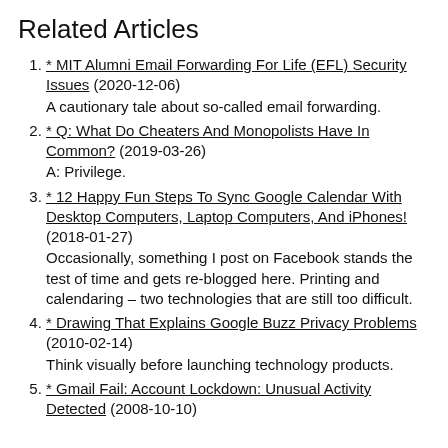Related Articles
* MIT Alumni Email Forwarding For Life (EFL) Security Issues (2020-12-06)
A cautionary tale about so-called email forwarding.
* Q: What Do Cheaters And Monopolists Have In Common? (2019-03-26)
A: Privilege.
* 12 Happy Fun Steps To Sync Google Calendar With Desktop Computers, Laptop Computers, And iPhones! (2018-01-27)
Occasionally, something I post on Facebook stands the test of time and gets re-blogged here. Printing and calendaring – two technologies that are still too difficult.
* Drawing That Explains Google Buzz Privacy Problems (2010-02-14)
Think visually before launching technology products.
* Gmail Fail: Account Lockdown: Unusual Activity Detected (2008-10-10)